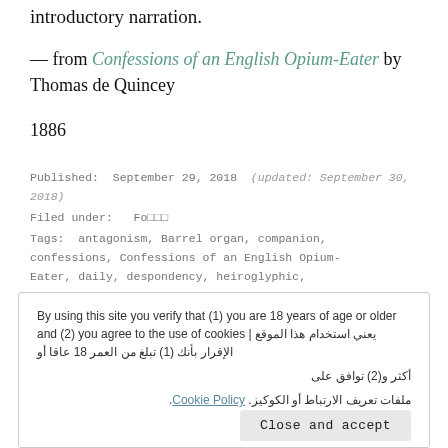introductory narration.
— from Confessions of an English Opium-Eater by Thomas de Quincey
1886
Published:  September 29, 2018  (updated: September 30, 2018)
Filed under:  Fo□□□
Tags:  antagonism, Barrel organ, companion, confessions, Confessions of an English Opium-Eater, daily, despondency, heiroglyphic,
By using this site you verify that (1) you are 18 years of age or older and (2) you agree to the use of cookies | يعني استخدام هذا الموقع الإقرار بأنك (1) تبلغ من العمر 18 عاقا أو أكثر و(2) توافق على ملفات تعريف الارتباط أو الكوكيز. Cookie Policy.